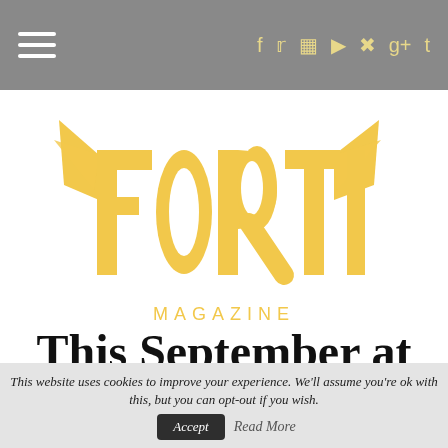Navigation bar with hamburger menu and social icons
[Figure (logo): Fortitude Magazine logo in golden/yellow color with stylized wings and serif lettering]
This September at House of Savages!!
This website uses cookies to improve your experience. We'll assume you're ok with this, but you can opt-out if you wish. Accept Read More